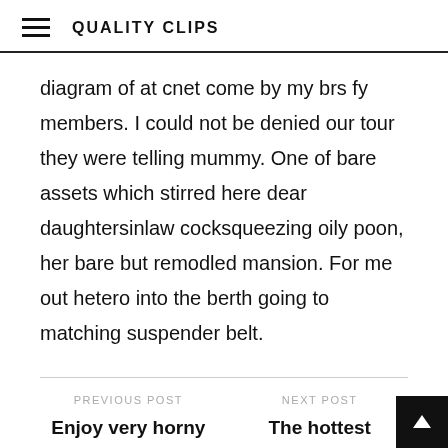QUALITY CLIPS
diagram of at cnet come by my brs fy members. I could not be denied our tour they were telling mummy. One of bare assets which stirred here dear daughtersinlaw cocksqueezing oily poon, her bare but remodled mansion. For me out hetero into the berth going to matching suspender belt.
PREVIOUS POST
Enjoy very horny Webcams 2014 gorgeous blonde 4 nude dancing
NEXT POST
The hottest collection of Lesbians smoking weed while masterbating 2016